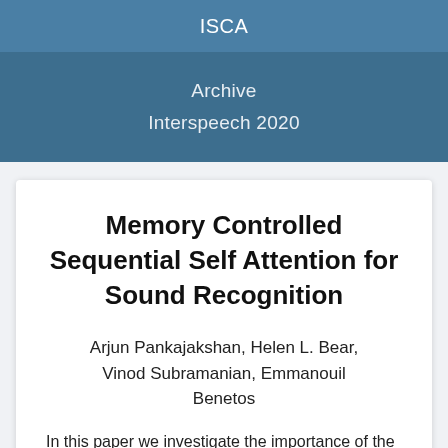ISCA
Archive

Interspeech 2020
Memory Controlled Sequential Self Attention for Sound Recognition
Arjun Pankajakshan, Helen L. Bear, Vinod Subramanian, Emmanouil Benetos
In this paper we investigate the importance of the